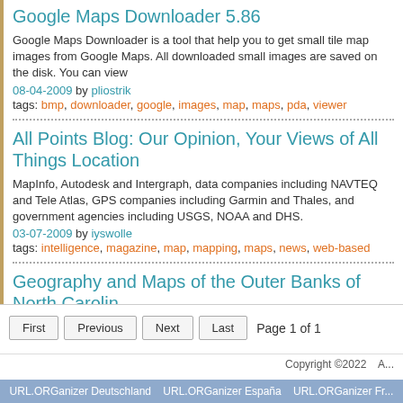Google Maps Downloader 5.86
Google Maps Downloader is a tool that help you to get small tile map images from Google Maps. All downloaded small images are saved on the disk. You can view
08-04-2009 by pliostrik
tags: bmp, downloader, google, images, map, maps, pda, viewer
All Points Blog: Our Opinion, Your Views of All Things Location
MapInfo, Autodesk and Intergraph, data companies including NAVTEQ and Tele Atlas, GPS companies including Garmin and Thales, and government agencies including USGS, NOAA and DHS.
03-07-2009 by iyswolle
tags: intelligence, magazine, map, mapping, maps, news, web-based
Geography and Maps of the Outer Banks of North Carolina
Outer Banks of North Carolina, abbreviated as the OBX, is located in the East Coast of the USA, which mainly consists of island's and beaches and approximately hundred miles in length.
05-08-2009 by gretaoddituc and 1 other
tags: geography, maps, north carolina, outer banks
First  Previous  Next  Last  Page 1 of 1
Copyright ©2022
URL.ORGanizer Deutschland   URL.ORGanizer España   URL.ORGanizer Fr...